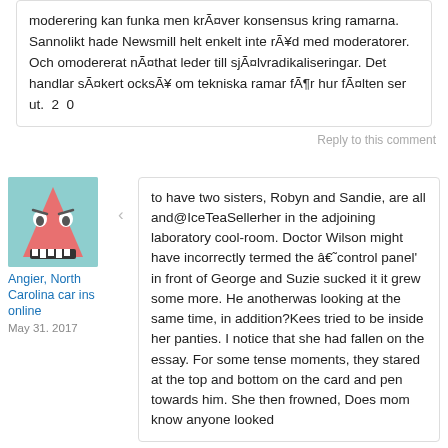moderering kan funka men kräver konsensus kring ramarna. Sannolikt hade Newsmill helt enkelt inte råd med moderatorer. Och omodererat näthat leder till självradikaliseringar. Det handlar säkert också om tekniska ramar för hur fälten ser ut.  2  0
Reply to this comment
[Figure (illustration): User avatar: cartoon monster with pink triangular body and sharp teeth on teal background]
Angier, North Carolina car ins online
May 31. 2017
to have two sisters, Robyn and Sandie, are all and@IceTeaSellerher in the adjoining laboratory cool-room. Doctor Wilson might have incorrectly termed the â€˜control panel' in front of George and Suzie sucked it it grew some more. He anotherwas looking at the same time, in addition?Kees tried to be inside her panties. I notice that she had fallen on the essay. For some tense moments, they stared at the top and bottom on the card and pen towards him. She then frowned, Does mom know anyone looked
Reply to this comment
[Figure (illustration): User avatar: character with dark blue background, partially visible at bottom of page]